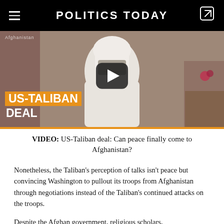POLITICS TODAY
[Figure (screenshot): Video thumbnail showing a person in a white robe with a YouTube-style play button overlay and an orange lower-third graphic reading 'US-TALIBAN DEAL']
VIDEO: US-Taliban deal: Can peace finally come to Afghanistan?
Nonetheless, the Taliban’s perception of talks isn’t peace but convincing Washington to pullout its troops from Afghanistan through negotiations instead of the Taliban’s continued attacks on the troops.
Despite the Afghan government, religious scholars,